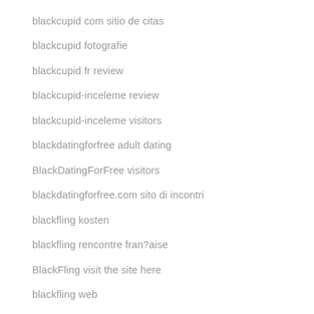blackcupid com sitio de citas
blackcupid fotografie
blackcupid fr review
blackcupid-inceleme review
blackcupid-inceleme visitors
blackdatingforfree adult dating
BlackDatingForFree visitors
blackdatingforfree.com sito di incontri
blackfling kosten
blackfling rencontre fran?aise
BlackFling visit the site here
blackfling web
blackfling-inceleme visitors
Blackjack canadian online casinos
Blackpeoplemeet flirt app